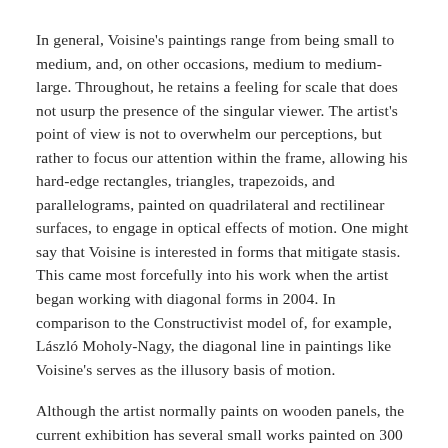In general, Voisine's paintings range from being small to medium, and, on other occasions, medium to medium-large. Throughout, he retains a feeling for scale that does not usurp the presence of the singular viewer. The artist's point of view is not to overwhelm our perceptions, but rather to focus our attention within the frame, allowing his hard-edge rectangles, triangles, trapezoids, and parallelograms, painted on quadrilateral and rectilinear surfaces, to engage in optical effects of motion. One might say that Voisine is interested in forms that mitigate stasis. This came most forcefully into his work when the artist began working with diagonal forms in 2004. In comparison to the Constructivist model of, for example, László Moholy-Nagy, the diagonal line in paintings like Voisine's serves as the illusory basis of motion.
Although the artist normally paints on wooden panels, the current exhibition has several small works painted on 300 gsm Arches paper, as well as oil on linen. The...